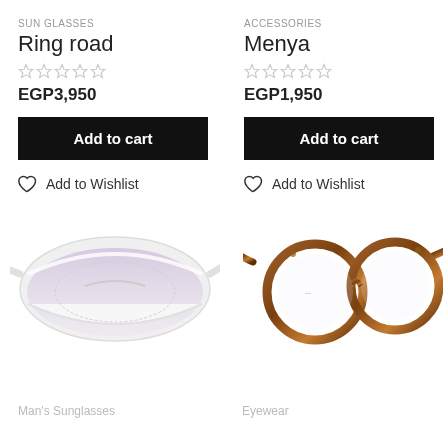SUN GLASSES
Ring road
★☆☆☆☆
EGP3,950
Add to cart
Add to Wishlist
Accessories
Menya
★☆☆☆☆
EGP1,950
Add to cart
Add to Wishlist
[Figure (photo): White oversized shield sunglasses with lavender gradient lenses]
Man's Sunglasses
[Figure (photo): Round tortoise shell brown eyeglasses frames]
Eyewear